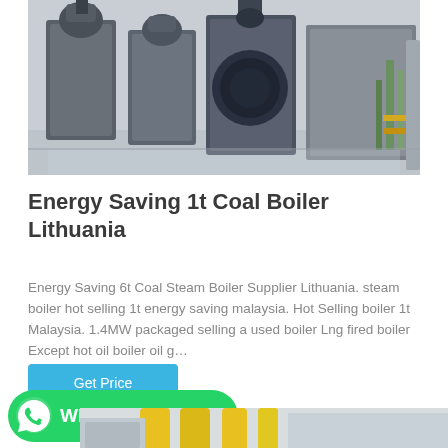[Figure (photo): Industrial boiler room with large grey boiler units and piping in a clean facility]
Energy Saving 1t Coal Boiler Lithuania
Energy Saving 6t Coal Steam Boiler Supplier Lithuania. steam boiler hot selling 1t energy saving malaysia. Hot Selling boiler 1t Malaysia. 1.4MW packaged selling a used boiler Lng fired boiler Except hot oil boiler oil g…
Get Price
[Figure (logo): WhatsApp button with green background and WhatsApp logo icon]
[Figure (photo): Industrial pipes and equipment, yellow and grey, partially visible at bottom of page]